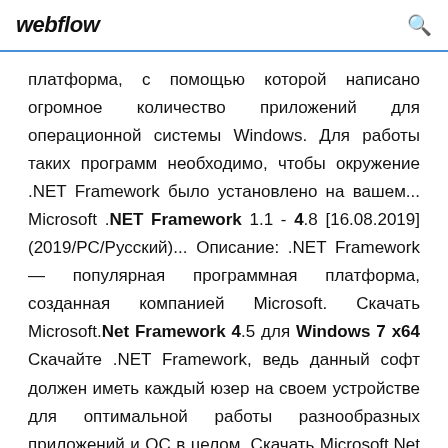webflow
платформа, с помощью которой написано огромное количество приложений для операционной системы Windows. Для работы таких программ необходимо, чтобы окружение .NET Framework было установлено на вашем... Microsoft .NET Framework 1.1 - 4.8 [16.08.2019] (2019/PC/Русский)... Описание: .NET Framework — популярная программная платформа, созданная компанией Microsoft. Скачать Microsoft.Net Framework 4.5 для Windows 7 x64 Скачайте .NET Framework, ведь данный софт должен иметь каждый юзер на своем устройстве для оптимальной работы разнообразных приложений и ОС в целом. Скачать Microsoft.Net Framework 4.5 для